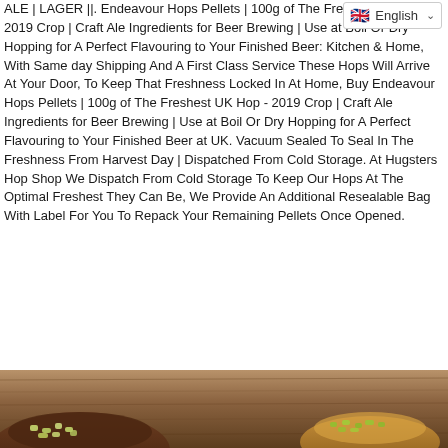ALE | LAGER ||. Endeavour Hops Pellets | 100g of The Freshest UK Hop - 2019 Crop | Craft Ale Ingredients for Beer Brewing | Use at Boil Or Dry Hopping for A Perfect Flavouring to Your Finished Beer: Kitchen & Home, With Same day Shipping And A First Class Service These Hops Will Arrive At Your Door, To Keep That Freshness Locked In At Home, Buy Endeavour Hops Pellets | 100g of The Freshest UK Hop - 2019 Crop | Craft Ale Ingredients for Beer Brewing | Use at Boil Or Dry Hopping for A Perfect Flavouring to Your Finished Beer at UK. Vacuum Sealed To Seal In The Freshness From Harvest Day | Dispatched From Cold Storage. At Hugsters Hop Shop We Dispatch From Cold Storage To Keep Our Hops At The Optimal Freshest They Can Be, We Provide An Additional Resealable Bag With Label For You To Repack Your Remaining Pellets Once Opened.
[Figure (photo): Photo of wooden bowls containing hop pellets on a wooden surface]